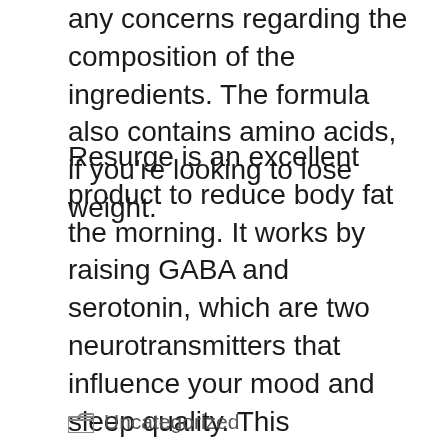any concerns regarding the composition of the ingredients. The formula also contains amino acids, if you're looking to lose weight.
Resurge is an excellent product to reduce body fat the morning. It works by raising GABA and serotonin, which are two neurotransmitters that influence your mood and sleep quality. This supplement isn't an tranquilizer. It is a sleep aid that helps your body to heal itself. There are no side effects with Resurge. The company is committed to supplying a safe product. The only issue is that it is only available on prescription only.
Uncategorized